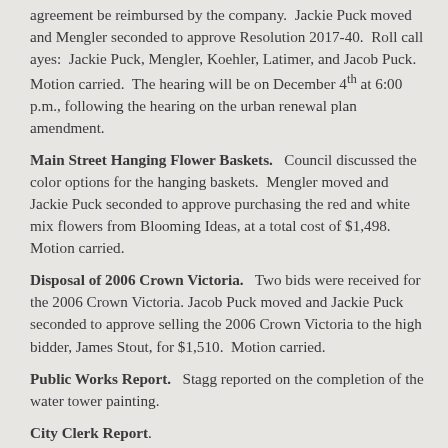agreement be reimbursed by the company. Jackie Puck moved and Mengler seconded to approve Resolution 2017-40. Roll call ayes: Jackie Puck, Mengler, Koehler, Latimer, and Jacob Puck. Motion carried. The hearing will be on December 4th at 6:00 p.m., following the hearing on the urban renewal plan amendment.
Main Street Hanging Flower Baskets. Council discussed the color options for the hanging baskets. Mengler moved and Jackie Puck seconded to approve purchasing the red and white mix flowers from Blooming Ideas, at a total cost of $1,498. Motion carried.
Disposal of 2006 Crown Victoria. Two bids were received for the 2006 Crown Victoria. Jacob Puck moved and Jackie Puck seconded to approve selling the 2006 Crown Victoria to the high bidder, James Stout, for $1,510. Motion carried.
Public Works Report. Stagg reported on the completion of the water tower painting.
City Clerk Report.
Urban Revitalization Plan – Westbrook Additions. Rickertsen reported on the estimated legal fees in connection with